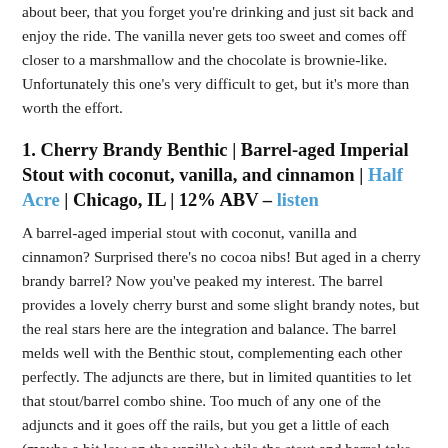about beer, that you forget you're drinking and just sit back and enjoy the ride. The vanilla never gets too sweet and comes off closer to a marshmallow and the chocolate is brownie-like. Unfortunately this one's very difficult to get, but it's more than worth the effort.
1. Cherry Brandy Benthic | Barrel-aged Imperial Stout with coconut, vanilla, and cinnamon | Half Acre | Chicago, IL | 12% ABV – listen
A barrel-aged imperial stout with coconut, vanilla and cinnamon? Surprised there's no cocoa nibs! But aged in a cherry brandy barrel? Now you've peaked my interest. The barrel provides a lovely cherry burst and some slight brandy notes, but the real stars here are the integration and balance. The barrel melds well with the Benthic stout, complementing each other perfectly. The adjuncts are there, but in limited quantities to let that stout/barrel combo shine. Too much of any one of the adjuncts and it goes off the rails, but you get a little of each (maybe a bit low on the vanilla) while the stout and barrel take you away. This only reaffirms my stance that more brandy barrel-aged beers released – apple and cherry especially. A treat.